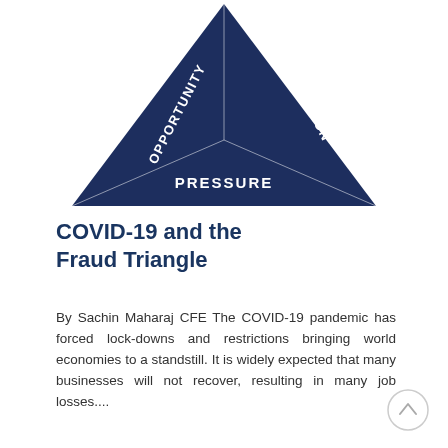[Figure (other): Fraud Triangle diagram: a dark navy blue equilateral triangle divided into three sections by internal lines meeting at the center. The left face has 'OPPORTUNITY' written diagonally along the left side. The right face has 'RATIONALIZATION' written diagonally along the right side. The bottom section has 'PRESSURE' written horizontally across the base.]
COVID-19 and the Fraud Triangle
By Sachin Maharaj CFE The COVID-19 pandemic has forced lock-downs and restrictions bringing world economies to a standstill. It is widely expected that many businesses will not recover, resulting in many job losses....